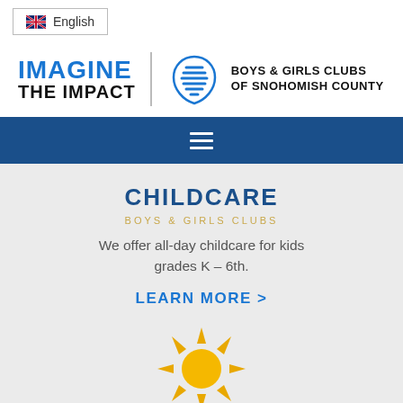English
[Figure (logo): Boys & Girls Clubs of Snohomish County logo with 'Imagine The Impact' tagline]
[Figure (screenshot): Dark blue navigation bar with hamburger menu icon]
CHILDCARE
We offer all-day childcare for kids grades K – 6th.
LEARN MORE >
[Figure (illustration): Yellow sun icon with rays]